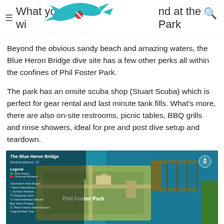What you will find at the Park
Beyond the obvious sandy beach and amazing waters, the Blue Heron Bridge dive site has a few other perks all within the confines of Phil Foster Park.
The park has an onsite scuba shop (Stuart Scuba) which is perfect for gear rental and last minute tank fills. What's more, there are also on-site restrooms, picnic tables, BBQ grills and rinse showers, ideal for pre and post dive setup and teardown.
[Figure (map): Map of The Blue Heron Bridge, Riviera Beach FL, showing Phil Foster Park area with legend indicating Dive Areas, Channel Markers, Exclusion Area Buoys, Swim Area Buoys, Sunken Vessels, Shopping Carts, Hammerhead Statues, Boy Scout Project, Reef Harris Reef Modules, Original Reef Trail]